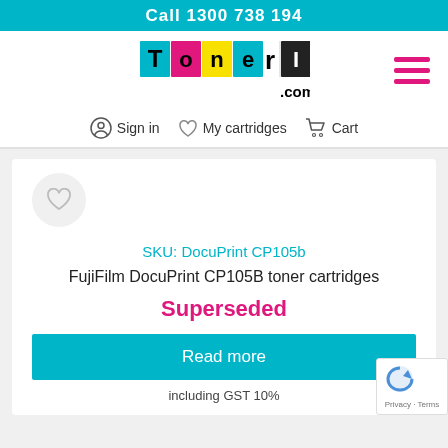Call 1300 738 194
[Figure (logo): TonerInk.com.au logo with colored letter blocks (cyan, magenta, yellow, black)]
Sign in   My cartridges   Cart
SKU: DocuPrint CP105b
FujiFilm DocuPrint CP105B toner cartridges
Superseded
Read more
including GST 10%